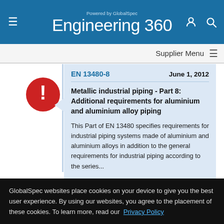Powered by GlobalSpec — Engineering 360
Supplier Menu
EN 13480-8 — June 1, 2012
Metallic industrial piping - Part 8: Additional requirements for aluminium and aluminium alloy piping
This Part of EN 13480 specifies requirements for industrial piping systems made of aluminium and aluminium alloys in addition to the general requirements for industrial piping according to the series...
GlobalSpec websites place cookies on your device to give you the best user experience. By using our websites, you agree to the placement of these cookies. To learn more, read our Privacy Policy